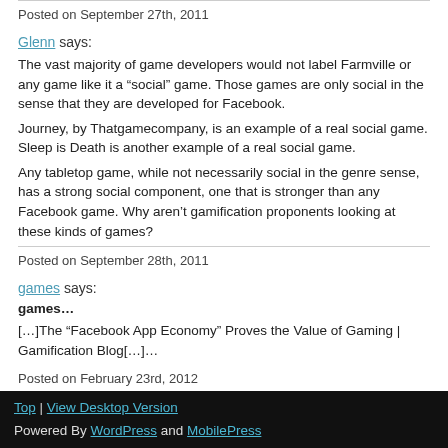Posted on September 27th, 2011
Glenn says:
The vast majority of game developers would not label Farmville or any game like it a “social” game. Those games are only social in the sense that they are developed for Facebook.
Journey, by Thatgamecompany, is an example of a real social game. Sleep is Death is another example of a real social game.
Any tabletop game, while not necessarily social in the genre sense, has a strong social component, one that is stronger than any Facebook game. Why aren’t gamification proponents looking at these kinds of games?
Posted on September 28th, 2011
games says:
games…
[...]The “Facebook App Economy” Proves the Value of Gaming | Gamification Blog[...]…
Posted on February 23rd, 2012
Top | View Desktop Version
Powered By WordPress and MobilePress